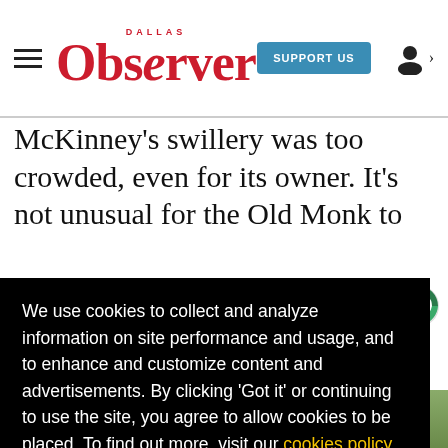Dallas Observer — SUPPORT US
McKinney's swillery was too crowded, even for its owner. It's not unusual for the Old Monk to [...]ers in [...]ey, [...]hing [...]d the [...]nue,
We use cookies to collect and analyze information on site performance and usage, and to enhance and customize content and advertisements. By clicking 'Got it' or continuing to use the site, you agree to allow cookies to be placed. To find out more, visit our cookies policy and our privacy policy.
Got it!